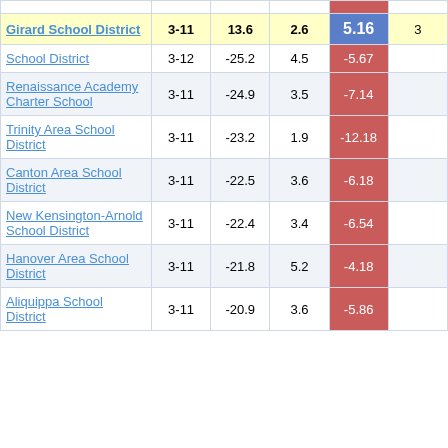| School/District | Grades | Col3 | Col4 | Score |  |
| --- | --- | --- | --- | --- | --- |
| Girard School District | 3-11 | 13.6 | 2.6 | 5.16 | 3 |
| School District | 3-12 | -25.2 | 4.5 | -5.67 |  |
| Renaissance Academy Charter School | 3-11 | -24.9 | 3.5 | -7.14 |  |
| Trinity Area School District | 3-11 | -23.2 | 1.9 | -12.18 |  |
| Canton Area School District | 3-11 | -22.5 | 3.6 | -6.18 |  |
| New Kensington-Arnold School District | 3-11 | -22.4 | 3.4 | -6.54 |  |
| Hanover Area School District | 3-11 | -21.8 | 5.2 | -4.18 |  |
| Aliquippa School District | 3-11 | -20.9 | 3.6 | -5.86 |  |